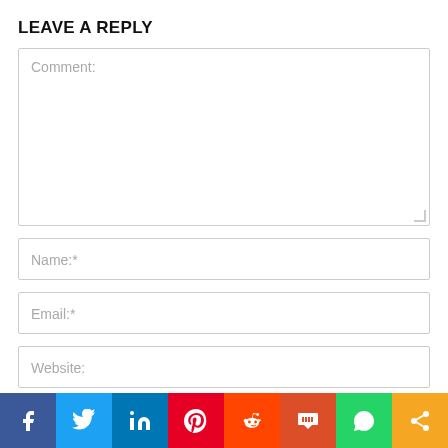LEAVE A REPLY
[Figure (screenshot): Comment text area input field with placeholder text 'Comment:']
[Figure (screenshot): Name input field with placeholder text 'Name:*']
[Figure (screenshot): Email input field with placeholder text 'Email:*']
[Figure (screenshot): Website input field with placeholder text 'Website:']
[Figure (infographic): Social sharing bar with icons for Facebook, Twitter, LinkedIn, Pinterest, Reddit, Mix, WhatsApp, and Share]